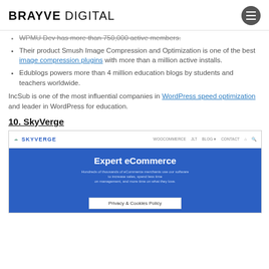BRAYVE DIGITAL
WPMU Dev has more than 750,000 active members.
Their product Smush Image Compression and Optimization is one of the best image compression plugins with more than a million active installs.
Edublogs powers more than 4 million education blogs by students and teachers worldwide.
IncSub is one of the most influential companies in WordPress speed optimization and leader in WordPress for education.
10. SkyVerge
[Figure (screenshot): Screenshot of the SkyVerge website showing the SkyVerge logo in the navigation bar and a blue hero section with the headline 'Expert eCommerce' and subtext about eCommerce merchants. A 'Privacy & Cookies Policy' bar is visible at the bottom.]